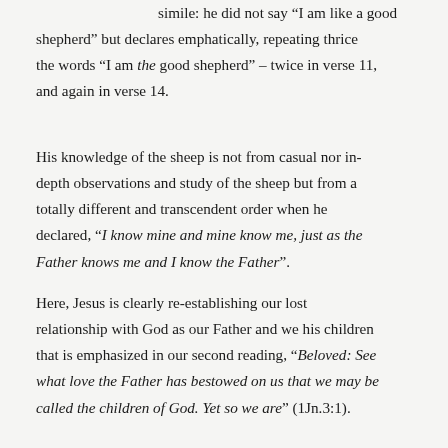simile: he did not say “I am like a good shepherd” but declares emphatically, repeating thrice the words “I am the good shepherd” – twice in verse 11, and again in verse 14.
His knowledge of the sheep is not from casual nor in-depth observations and study of the sheep but from a totally different and transcendent order when he declared, “I know mine and mine know me, just as the Father knows me and I know the Father”.
Here, Jesus is clearly re-establishing our lost relationship with God as our Father and we his children that is emphasized in our second reading, “Beloved: See what love the Father has bestowed on us that we may be called the children of God. Yet so we are” (1Jn.3:1).